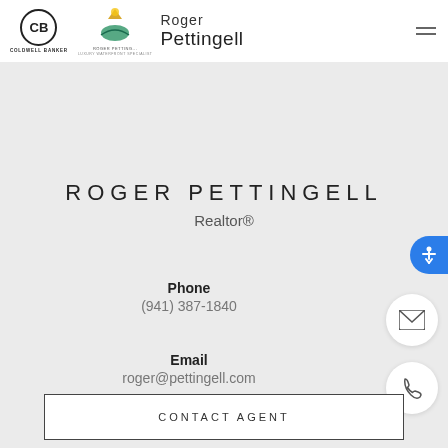Roger Pettingell – Coldwell Banker header with logo
ROGER PETTINGELL
Realtor®
Phone
(941) 387-1840
Email
roger@pettingell.com
CONTACT AGENT